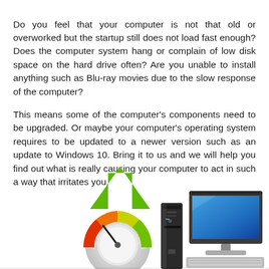Do you feel that your computer is not that old or overworked but the startup still does not load fast enough? Does the computer system hang or complain of low disk space on the hard drive often? Are you unable to install anything such as Blu-ray movies due to the slow response of the computer?
This means some of the computer's components need to be upgraded. Or maybe your computer's operating system requires to be updated to a newer version such as an update to Windows 10. Bring it to us and we will help you find out what is really causing your computer to act in such a way that irritates you.
[Figure (illustration): Illustration showing a green upward arrow with a speedometer gauge, a black computer tower, and a desktop monitor with keyboard — representing computer upgrade.]